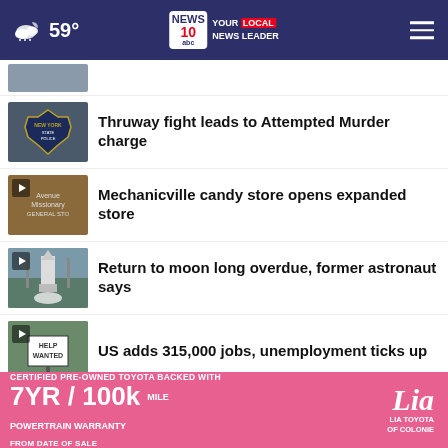NEWS10 YOUR LOCAL NEWS LEADER — 59°
[Figure (photo): Partially visible thumbnail image at top]
Thruway fight leads to Attempted Murder charge
Mechanicville candy store opens expanded store
Return to moon long overdue, former astronaut says
US adds 315,000 jobs, unemployment ticks up
Mo... Stories...
CERTIFIED PRE-OWNED TOYOTA BACKED WITH 7YR / 100k MILE POWERTRAIN WARRANTY FROM DATE OF SALE — Lia LIA TOYOTA OF COLONIE